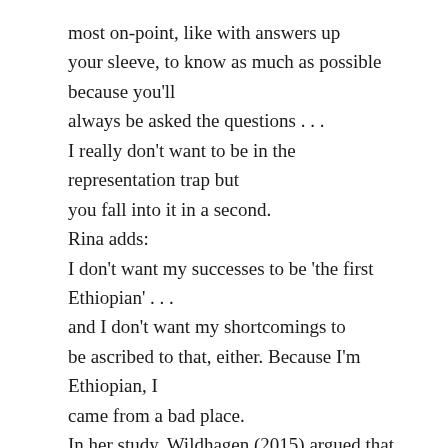most on-point, like with answers up your sleeve, to know as much as possible because you'll always be asked the questions . . . I really don't want to be in the representation trap but you fall into it in a second. Rina adds: I don't want my successes to be 'the first Ethiopian' . . . and I don't want my shortcomings to be ascribed to that, either. Because I'm Ethiopian, I came from a bad place. In her study, Wildhagen (2015) argued that the designation of 'first-generation' collage students by the academic institution classifies them as separate from the 'typical' college student and thus grounds views by their peers and